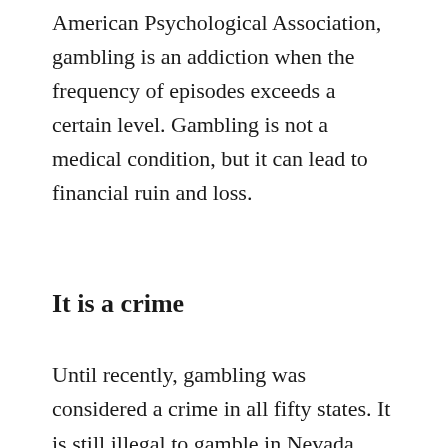American Psychological Association, gambling is an addiction when the frequency of episodes exceeds a certain level. Gambling is not a medical condition, but it can lead to financial ruin and loss.
It is a crime
Until recently, gambling was considered a crime in all fifty states. It is still illegal to gamble in Nevada, California, New York, and other places. But more states are legalizing various types of gambling, including poker rooms, horse racing tracks, and Indian casinos. In fact, all states have some type of gambling